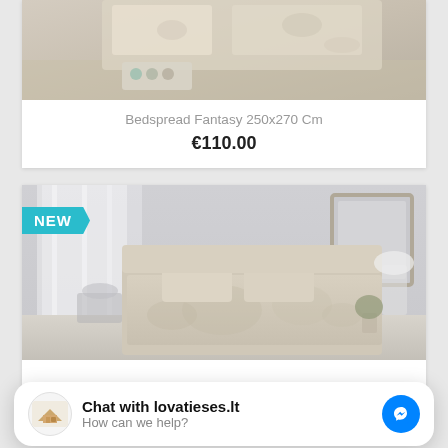[Figure (photo): Photo of a floral/patterned bedspread in beige tones on a bed, top portion visible]
Bedspread Fantasy 250x270 Cm
€110.00
[Figure (photo): Photo of a beige patterned bedspread (Magia Beige) on a bed in a bright bedroom, with NEW badge]
Bedspread Magia Beige...
Chat with lovatieses.lt
How can we help?